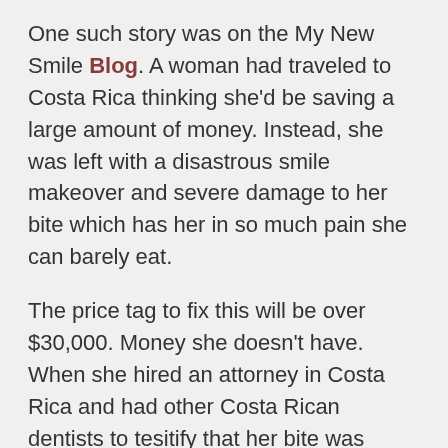One such story was on the My New Smile Blog. A woman had traveled to Costa Rica thinking she'd be saving a large amount of money. Instead, she was left with a disastrous smile makeover and severe damage to her bite which has her in so much pain she can barely eat.
The price tag to fix this will be over $30,000. Money she doesn't have. When she hired an attorney in Costa Rica and had other Costa Rican dentists to tesitify that her bite was destroyed by this dentist, the only place where she could get legal recourse there told her she was the felon because it is illegal there to complain publicly about a dentist until he's been convicted.